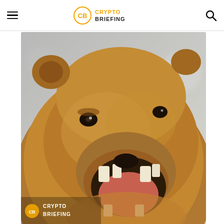Crypto Briefing
[Figure (photo): A grizzly bear roaring with mouth wide open, brown fur, blurred winter background. Crypto Briefing watermark logo in bottom-left corner of image.]
Shutterstock cover by Scott E Read
[Figure (infographic): Advertisement banner with purple left panel showing 'Win A $360 Subscription To Pro BTC Trader' text in white, and right panel showing a bald man with glasses looking surprised.]